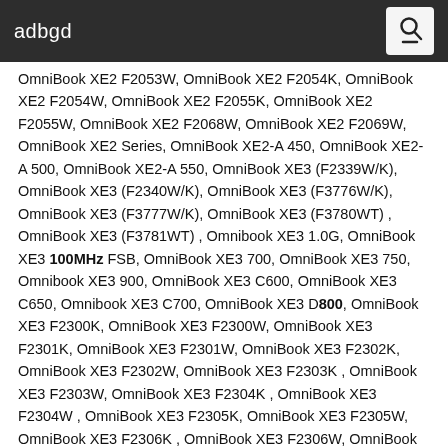adbgd
OmniBook XE2 F2053W, OmniBook XE2 F2054K, OmniBook XE2 F2054W, OmniBook XE2 F2055K, OmniBook XE2 F2055W, OmniBook XE2 F2068W, OmniBook XE2 F2069W, OmniBook XE2 Series, OmniBook XE2-A 450, OmniBook XE2-A 500, OmniBook XE2-A 550, OmniBook XE3 (F2339W/K), OmniBook XE3 (F2340W/K), OmniBook XE3 (F3776W/K), OmniBook XE3 (F3777W/K), OmniBook XE3 (F3780WT) , OmniBook XE3 (F3781WT) , Omnibook XE3 1.0G, OmniBook XE3 100MHz FSB, OmniBook XE3 700, OmniBook XE3 750, Omnibook XE3 900, OmniBook XE3 C600, OmniBook XE3 C650, Omnibook XE3 C700, OmniBook XE3 D800, OmniBook XE3 F2300K, OmniBook XE3 F2300W, OmniBook XE3 F2301K, OmniBook XE3 F2301W, OmniBook XE3 F2302K, OmniBook XE3 F2302W, OmniBook XE3 F2303K , OmniBook XE3 F2303W, OmniBook XE3 F2304K , OmniBook XE3 F2304W , OmniBook XE3 F2305K, OmniBook XE3 F2305W, OmniBook XE3 F2306K , OmniBook XE3 F2306W, OmniBook XE3 F2307K, OmniBook XE3 F2307W, OmniBook XE3 F2308K, OmniBook XE3 F2308W, OmniBook XE3 F2309K, OmniBook XE3 F2309W, OmniBook XE3 F2310K, OmniBook XE3 F2310W, OmniBook XE3 F2311K, OmniBook